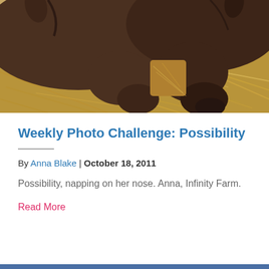[Figure (photo): Two dark brown horses (or foals) with heads down, napping or grazing on straw/hay. Photo taken outdoors in natural light.]
Weekly Photo Challenge: Possibility
By Anna Blake | October 18, 2011
Possibility, napping on her nose. Anna, Infinity Farm.
Read More